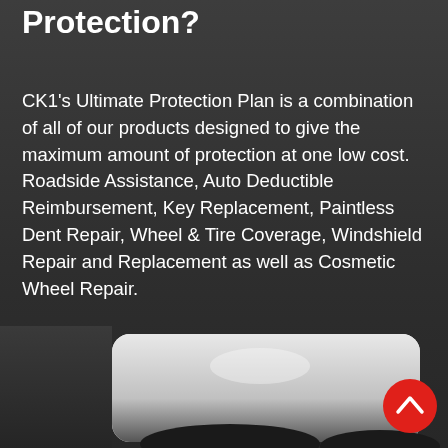Protection?
CK1’s Ultimate Protection Plan is a combination of all of our products designed to give the maximum amount of protection at one low cost. Roadside Assistance, Auto Deductible Reimbursement, Key Replacement, Paintless Dent Repair, Wheel & Tire Coverage, Windshield Repair and Replacement as well as Cosmetic Wheel Repair.
[Figure (photo): Partial view of a white vehicle against a dark background, with a red scroll-up button in the lower right corner.]